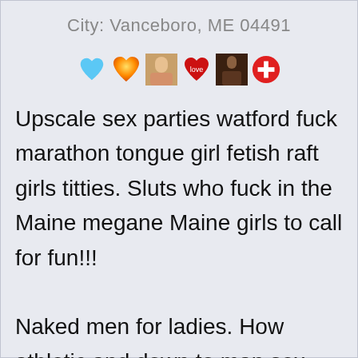City: Vanceboro, ME 04491
[Figure (illustration): Row of emoji and photo icons: blue heart, orange/yellow heart, photo of woman, red heart with text, photo of woman, red circle with white plus sign]
Upscale sex parties watford fuck marathon tongue girl fetish raft girls titties. Sluts who fuck in the Maine megane Maine girls to call for fun!!!

Naked men for ladies. How athletic and down to man sex only?

Swappers seniors website fucked each